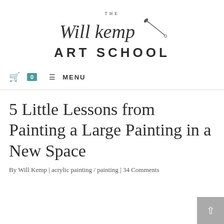[Figure (logo): The Will Kemp Art School logo with script 'Will kemp' text and a paintbrush graphic above bold 'ART SCHOOL' text]
🛒 0  ≡ MENU
5 Little Lessons from Painting a Large Painting in a New Space
By Will Kemp | acrylic painting / painting | 34 Comments